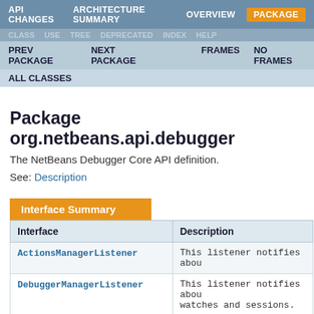API CHANGES  ARCHITECTURE SUMMARY  OVERVIEW  PACKAGE
CLASS  USE  TREE  DEPRECATED  INDEX  HELP
PREV PACKAGE  NEXT PACKAGE  FRAMES  NO FRAMES
ALL CLASSES
Package org.netbeans.api.debugger
The NetBeans Debugger Core API definition.
See: Description
Interface Summary
| Interface | Description |
| --- | --- |
| ActionsManagerListener | This listener notifies abou |
| DebuggerManagerListener | This listener notifies about watches and sessions. |
| LazyDebuggerManagerListener | This DebuggerManagerLi in "META-INF/debugger/org.netbea |